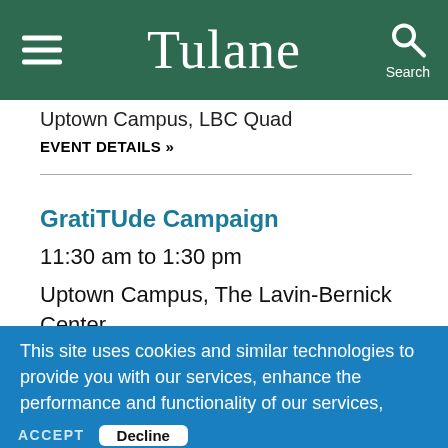Tulane
Uptown Campus, LBC Quad
EVENT DETAILS »
GratiTUde Campaign
11:30 am to 1:30 pm
Uptown Campus, The Lavin-Bernick Center for Student Life
This site uses cookies and similar technologies to provide you with our services, enhance the performance and functionality of our services, analyze the use of our products and services, and assist with our advertising and marketing efforts.  Privacy Notice   GDPR Privacy Policy
ACCEPT   Decline